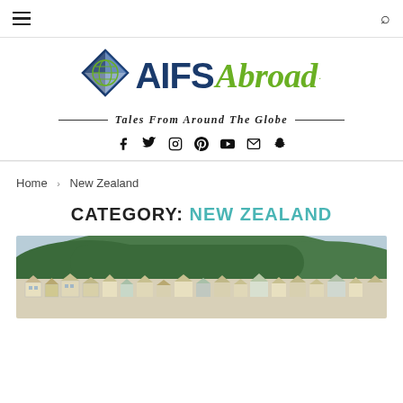AIFS Abroad – Tales From Around The Globe
[Figure (logo): AIFS Abroad logo with diamond globe icon, blue AIFS text, green italic Abroad text]
Tales From Around The Globe
Social media icons: Facebook, Twitter, Instagram, Pinterest, YouTube, Email, Snapchat
Home > New Zealand
CATEGORY: NEW ZEALAND
[Figure (photo): Aerial view of Wellington, New Zealand hillside with houses and green hills in the background]